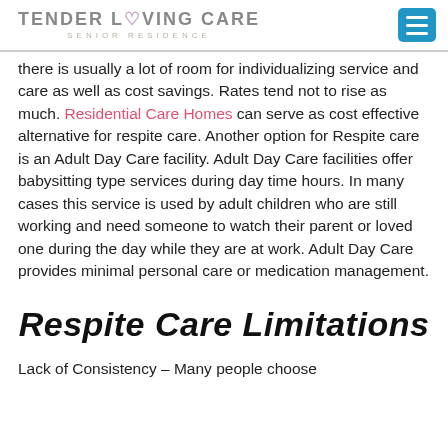TENDER LOVING CARE SENIOR RESIDENCE
there is usually a lot of room for individualizing service and care as well as cost savings. Rates tend not to rise as much. Residential Care Homes can serve as cost effective alternative for respite care. Another option for Respite care is an Adult Day Care facility. Adult Day Care facilities offer babysitting type services during day time hours. In many cases this service is used by adult children who are still working and need someone to watch their parent or loved one during the day while they are at work. Adult Day Care provides minimal personal care or medication management.
Respite Care Limitations
Lack of Consistency – Many people choose...